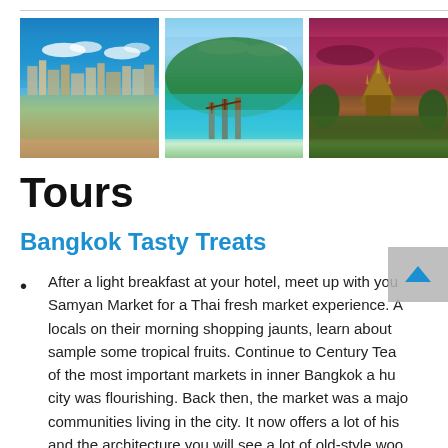[Figure (photo): Aerial view of a coastal city with buildings and blue sky]
[Figure (photo): Tropical island with lush green hills, wooden walkway/boardwalk, and turquoise ocean water]
[Figure (photo): Ornate wooden temple or sanctuary at dusk with dramatic purple-red sky]
Tours
Bangkok Tasty Treats
After a light breakfast at your hotel, meet up with your guide at Samyan Market for a Thai fresh market experience. Accompany locals on their morning shopping jaunts, learn about local produce and sample some tropical fruits. Continue to Century Tea House, one of the most important markets in inner Bangkok a hundred years ago when the city was flourishing. Back then, the market was a major hub for many communities living in the city. It now offers a lot of historical charm and the architecture you will see a lot of old-style wooden shophouses and please your palate with local sweet and delicacies.